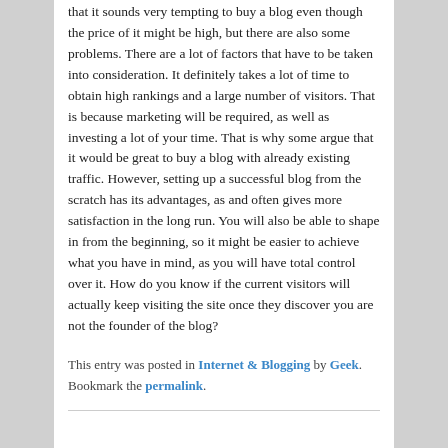that it sounds very tempting to buy a blog even though the price of it might be high, but there are also some problems. There are a lot of factors that have to be taken into consideration. It definitely takes a lot of time to obtain high rankings and a large number of visitors. That is because marketing will be required, as well as investing a lot of your time. That is why some argue that it would be great to buy a blog with already existing traffic. However, setting up a successful blog from the scratch has its advantages, as and often gives more satisfaction in the long run. You will also be able to shape in from the beginning, so it might be easier to achieve what you have in mind, as you will have total control over it. How do you know if the current visitors will actually keep visiting the site once they discover you are not the founder of the blog?
This entry was posted in Internet & Blogging by Geek. Bookmark the permalink.